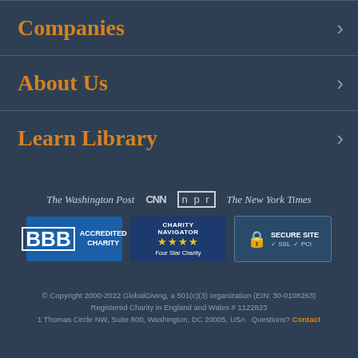Companies
About Us
Learn Library
[Figure (logo): Media logos: The Washington Post, CNN, NPR, The New York Times]
[Figure (logo): Trust badges: BBB Accredited Charity, Charity Navigator Four Star Charity, Secure Site SSL PCI]
© Copyright 2000-2022 GlobalGiving, a 501(c)(3) organization (EIN: 30-0108263)
Registered Charity in England and Wales # 1122823
1 Thomas Circle NW, Suite 800, Washington, DC 20005, USA   Questions? Contact